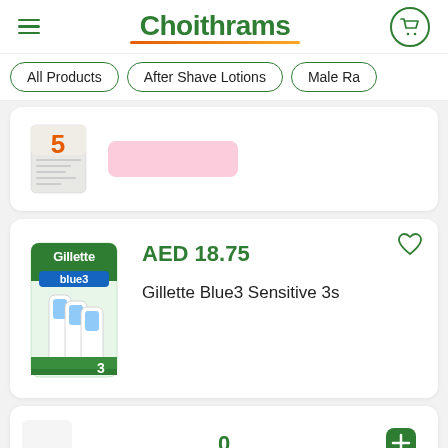Choithrams
All Products
After Shave Lotions
Male Ra
[Figure (photo): Partially visible product card showing a product with orange '5' on packaging and a pink add-to-cart button]
[Figure (photo): Gillette Blue3 Sensitive 3s razor package - green and blue packaging with 3 razors visible]
AED 18.75
Gillette Blue3 Sensitive 3s
[Figure (photo): Bottom of page showing partial product card with quantity controls]